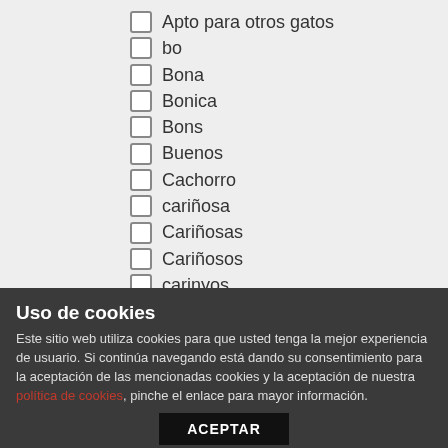Apto para otros gatos
bo
Bona
Bonica
Bons
Buenos
Cachorro
cariñosa
Cariñosas
Cariñosos
carinyos
carinyosa
catshelterbcn
complements
Curioso
Uso de cookies
Este sitio web utiliza cookies para que usted tenga la mejor experiencia de usuario. Si continúa navegando está dando su consentimiento para la aceptación de las mencionadas cookies y la aceptación de nuestra política de cookies, pinche el enlace para mayor información.
ACEPTAR